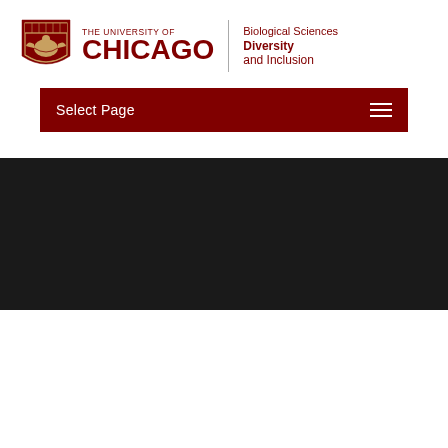[Figure (logo): University of Chicago shield logo with Biological Sciences Diversity and Inclusion wordmark]
Select Page
[Figure (photo): Dark/black banner image area]